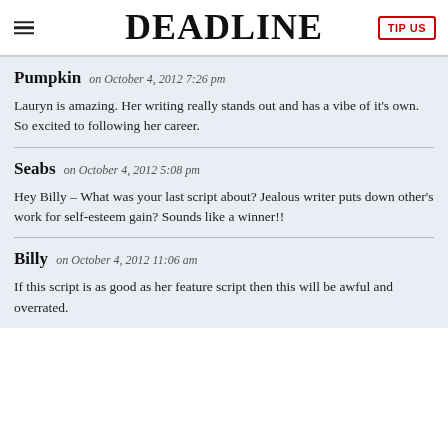DEADLINE
Pumpkin on October 4, 2012 7:26 pm
Lauryn is amazing. Her writing really stands out and has a vibe of it's own. So excited to following her career.
Seabs on October 4, 2012 5:08 pm
Hey Billy – What was your last script about? Jealous writer puts down other's work for self-esteem gain? Sounds like a winner!!
Billy on October 4, 2012 11:06 am
If this script is as good as her feature script then this will be awful and overrated.